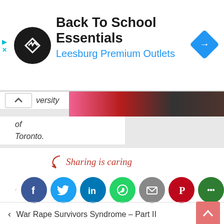[Figure (screenshot): Advertisement banner: Back To School Essentials at Leesburg Premium Outlets with logo and navigation icon]
versity of Toronto.
[Figure (illustration): Social media sharing icons: Facebook, Twitter, LinkedIn, WhatsApp, Email, Pinterest, More - with 'Sharing is caring' label and arrow]
< War Rape Survivors Syndrome – Part II
Islamic Inheritance Law and women's rights in the